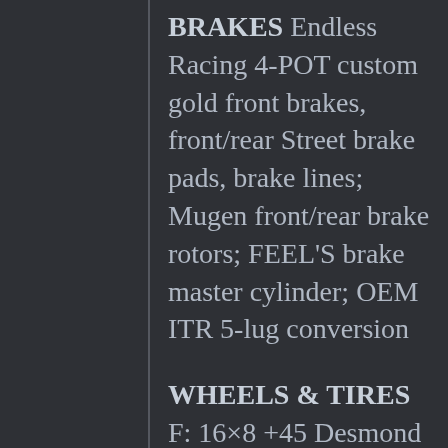BRAKES Endless Racing 4-POT custom gold front brakes, front/rear Street brake pads, brake lines; Mugen front/rear brake rotors; FEEL'S brake master cylinder; OEM ITR 5-lug conversion
WHEELS & TIRES F: 16×8 +45 Desmond Spoon Sports SW388;